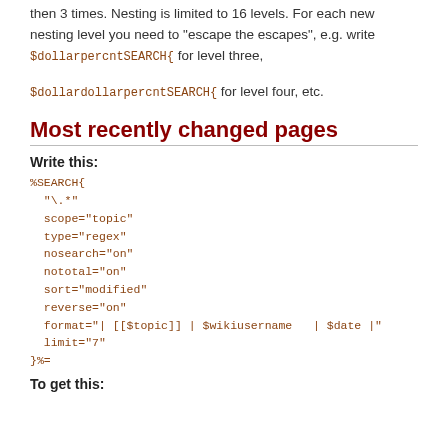then 3 times. Nesting is limited to 16 levels. For each new nesting level you need to "escape the escapes", e.g. write $dollarpercntSEARCH{ for level three, $dollardollarpercntSEARCH{ for level four, etc.
Most recently changed pages
Write this:
%SEARCH{
  "\.* "
  scope="topic"
  type="regex"
  nosearch="on"
  nototal="on"
  sort="modified"
  reverse="on"
  format="| [[$topic]] | $wikiusername   | $date |"
  limit="7"
}%=
To get this: